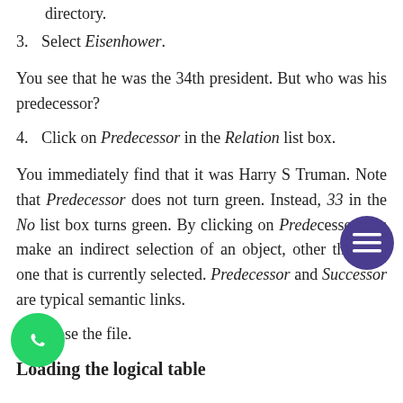directory.
3. Select Eisenhower.
You see that he was the 34th president. But who was his predecessor?
4. Click on Predecessor in the Relation list box.
You immediately find that it was Harry S Truman. Note that Predecessor does not turn green. Instead, 33 in the No list box turns green. By clicking on Predecessor you make an indirect selection of an object, other than the one that is currently selected. Predecessor and Successor are typical semantic links.
5. Close the file.
Loading the logical table